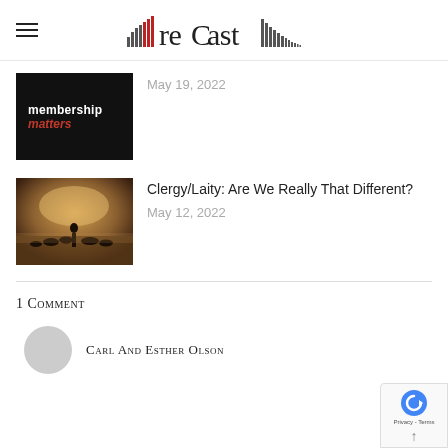recast
[Figure (screenshot): Thumbnail image: black background with text 'membership' in white and 'matters' in red italic]
May 19, 2022
[Figure (photo): Sepia-toned photograph of a silhouetted figure with cattle in a dusty landscape]
Clergy/Laity: Are We Really That Different?
May 12, 2022
1 Comment
Carl And Esther Olson